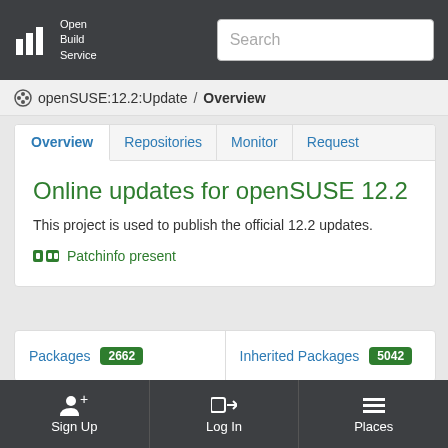Open Build Service — Search
openSUSE:12.2:Update / Overview
[Figure (screenshot): Navigation tabs: Overview (active), Repositories, Monitor, Request]
Online updates for openSUSE 12.2
This project is used to publish the official 12.2 updates.
Patchinfo present
Packages 2662   Inherited Packages 5042
Sign Up   Log In   Places